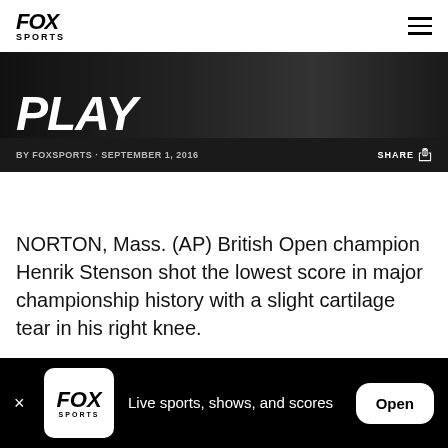FOX SPORTS
PLAY
BY FOXSPORTS · SEPTEMBER 1, 2016
NORTON, Mass. (AP) British Open champion Henrik Stenson shot the lowest score in major championship history with a slight cartilage tear in his right knee.
Stenson said Thursday that tests revealed the injury
Live sports, shows, and scores